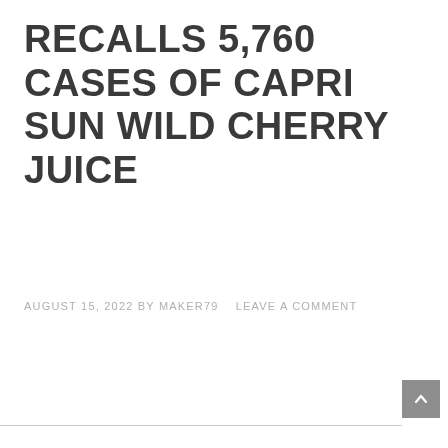RECALLS 5,760 CASES OF CAPRI SUN WILD CHERRY JUICE
AUGUST 15, 2022 BY MAKER79   LEAVE A COMMENT